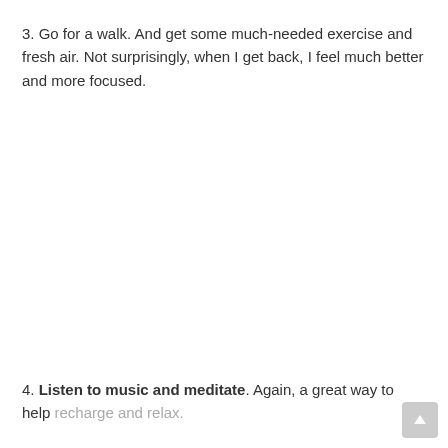3. Go for a walk. And get some much-needed exercise and fresh air. Not surprisingly, when I get back, I feel much better and more focused.
4. Listen to music and meditate. Again, a great way to help recharge and relax.